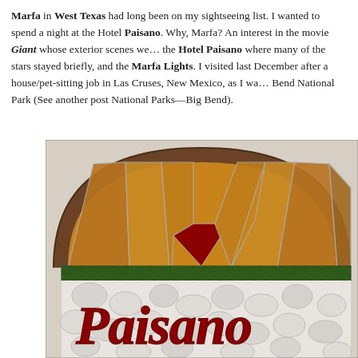Marfa in West Texas had long been on my sightseeing list. I wanted to spend a night at the Hotel Paisano. Why, Marfa? An interest in the movie Giant whose exterior scenes were filmed nearby, the Hotel Paisano where many of the stars stayed briefly, and the Marfa Lights. I visited last December after a house/pet-sitting job in Las Cruses, New Mexico, as I was on my way to Big Bend National Park (See another post National Parks—Big Bend).
[Figure (photo): Stained glass window of the Hotel Paisano in Marfa, Texas. Arched decorative stained glass in amber/brown and dark red colors at top, with white pebbled glass below spelling 'Paisano' in red cursive lettering.]